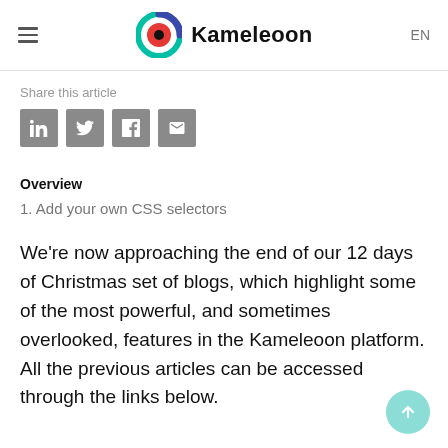Kameleoon | EN
Share this article
Overview
1. Add your own CSS selectors
We're now approaching the end of our 12 days of Christmas set of blogs, which highlight some of the most powerful, and sometimes overlooked, features in the Kameleoon platform. All the previous articles can be accessed through the links below.